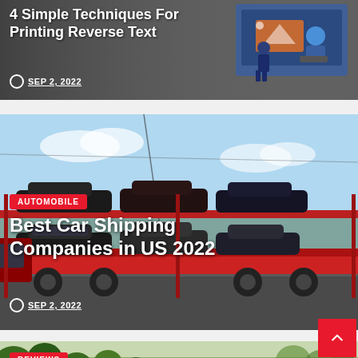[Figure (screenshot): Article card with dark background showing text about printing, with illustration of person with laptop on right side]
4 Simple Techniques For Printing Reverse Text
SEP 2, 2022
[Figure (photo): Photo of multiple cars loaded on a red car transport truck/trailer on a highway]
AUTOMOBILE
Best Car Shipping Companies in US 2022
SEP 2, 2022
[Figure (photo): Photo of outdoor park/playground area with trees and exercise equipment]
REVIEWS
Types Of Outdoor